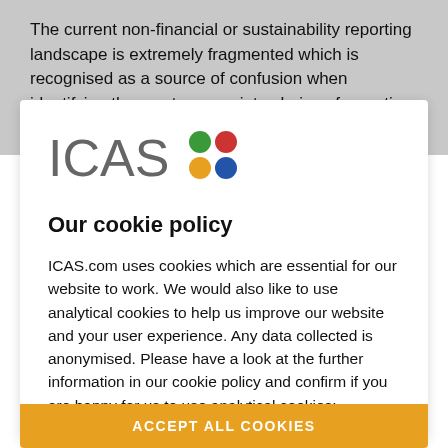The current non-financial or sustainability reporting landscape is extremely fragmented which is recognised as a source of confusion when identifying the most appropriate choice of reporting framework. CAs need to
[Figure (logo): ICAS logo with colorful dots (green, red, yellow, blue arranged in 2x2 grid)]
Our cookie policy
ICAS.com uses cookies which are essential for our website to work. We would also like to use analytical cookies to help us improve our website and your user experience. Any data collected is anonymised. Please have a look at the further information in our cookie policy and confirm if you are happy for us to use analytical cookies:
ACCEPT ALL COOKIES